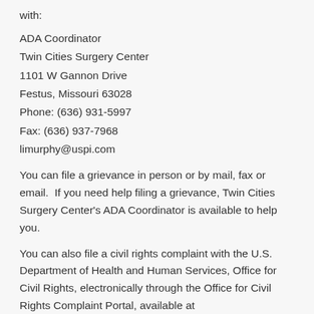with:
ADA Coordinator
Twin Cities Surgery Center
1101 W Gannon Drive
Festus, Missouri 63028
Phone: (636) 931-5997
Fax: (636) 937-7968
limurphy@uspi.com
You can file a grievance in person or by mail, fax or email.  If you need help filing a grievance, Twin Cities Surgery Center's ADA Coordinator is available to help you.
You can also file a civil rights complaint with the U.S. Department of Health and Human Services, Office for Civil Rights, electronically through the Office for Civil Rights Complaint Portal, available at https://ocrportal.hhs.gov/ocr/portal/lobby.jsf, or by mail or phone at:
U.S. Department of Health and Human Services